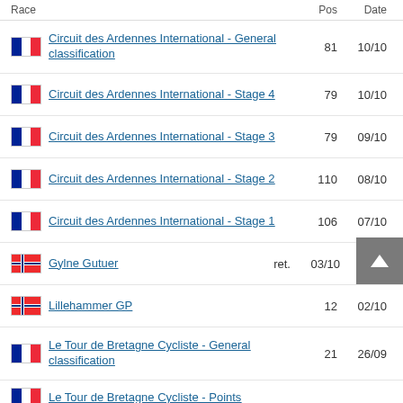Race | Pos | Date
Circuit des Ardennes International - General classification | 81 | 10/10
Circuit des Ardennes International - Stage 4 | 79 | 10/10
Circuit des Ardennes International - Stage 3 | 79 | 09/10
Circuit des Ardennes International - Stage 2 | 110 | 08/10
Circuit des Ardennes International - Stage 1 | 106 | 07/10
Gylne Gutuer | ret. | 03/10
Lillehammer GP | 12 | 02/10
Le Tour de Bretagne Cycliste - General classification | 21 | 26/09
Le Tour de Bretagne Cycliste - Points